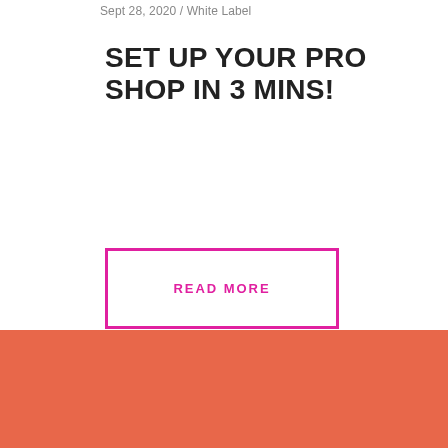Sept 28, 2020 / White Label
SET UP YOUR PRO SHOP IN 3 MINS!
READ MORE
[Figure (other): Orange footer banner with teal scroll-to-top button containing an upward chevron arrow]